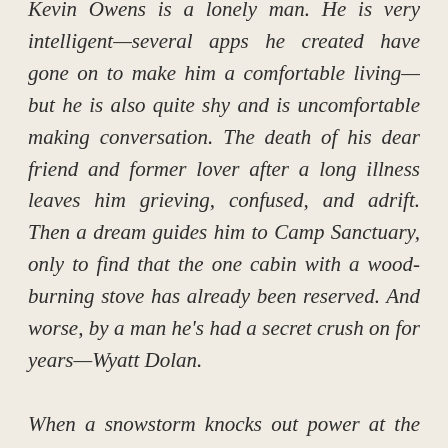Kevin Owens is a lonely man. He is very intelligent—several apps he created have gone on to make him a comfortable living—but he is also quite shy and is uncomfortable making conversation. The death of his dear friend and former lover after a long illness leaves him grieving, confused, and adrift. Then a dream guides him to Camp Sanctuary, only to find that the one cabin with a wood-burning stove has already been reserved. And worse, by a man he's had a secret crush on for years—Wyatt Dolan.

When a snowstorm knocks out power at the Camp, Wyatt and Kevin must share the same cabin to stay warm, and very soon, magickal things begin to